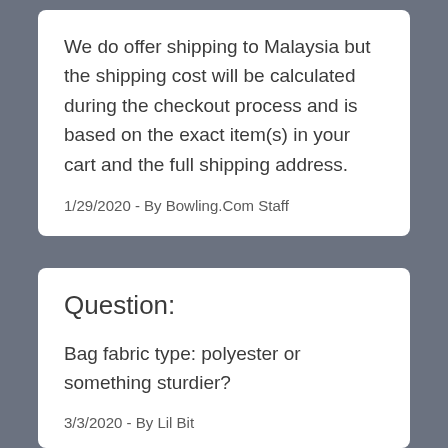We do offer shipping to Malaysia but the shipping cost will be calculated during the checkout process and is based on the exact item(s) in your cart and the full shipping address.
1/29/2020 - By Bowling.Com Staff
Question:
Bag fabric type: polyester or something sturdier?
3/3/2020 - By Lil Bit